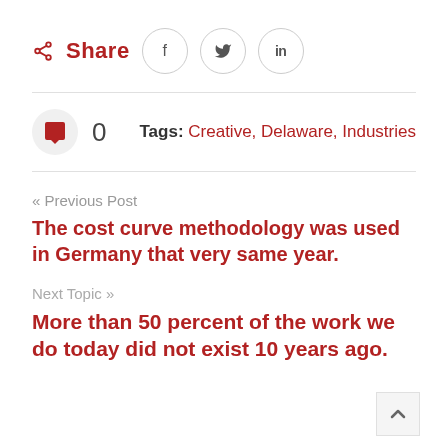Share (social buttons: f, y, in)
0   Tags: Creative, Delaware, Industries
« Previous Post
The cost curve methodology was used in Germany that very same year.
Next Topic »
More than 50 percent of the work we do today did not exist 10 years ago.